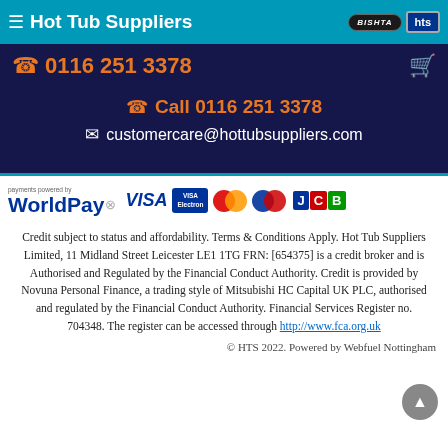≡ Hot Tub Suppliers | BISHTA | hts
☎ 0116 251 3378
☎ Call 0116 251 3378
✉ customercare@hottubsuppliers.com
[Figure (logo): WorldPay, VISA, VISA Electron, MasterCard, Maestro, JCB payment logos]
Credit subject to status and affordability. Terms & Conditions Apply. Hot Tub Suppliers Limited, 11 Midland Street Leicester LE1 1TG FRN: [654375] is a credit broker and is Authorised and Regulated by the Financial Conduct Authority. Credit is provided by Novuna Personal Finance, a trading style of Mitsubishi HC Capital UK PLC, authorised and regulated by the Financial Conduct Authority. Financial Services Register no. 704348. The register can be accessed through http://www.fca.org.uk
© HTS 2022. Powered by Webfuel Nottingham